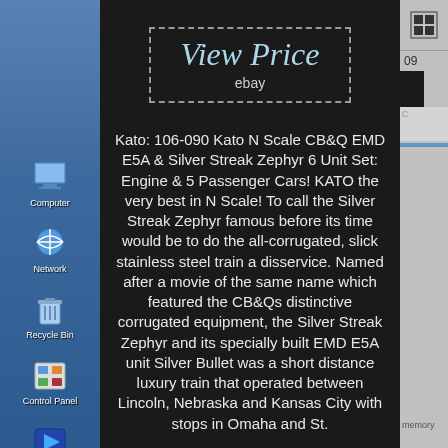[Figure (screenshot): Windows XP desktop sidebar with icons: Computer, Network, Recycle Bin, Control Panel, Winavi32]
[Figure (screenshot): View Price ebay banner with dashed border on dark background]
Kato: 106-090 Kato N Scale CB&Q EMD E5A & Silver Streak Zephyr 6 Unit Set: Engine & 5 Passenger Cars! KATO the very best in N Scale! To call the Silver Streak Zephyr famous before its time would be to do the all-corrugated, slick stainless steel train a disservice. Named after a movie of the same name which featured the CB&Qs distinctive corrugated equipment, the Silver Streak Zephyr and its specially built EMD E5A unit Silver Bullet was a short distance luxury train that operated between Lincoln, Nebraska and Kansas City with stops in Omaha and St.
EMD E5A #9909 Silver Bullet with Skirted Trucks and "Silver Streak Zephyr" lettering. Budd Baggage/RPO #1600 Silver Sheen.
[Figure (screenshot): Windows taskbar right panel showing 09 and memory label]